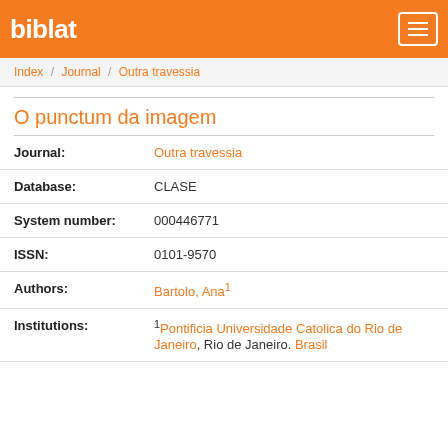biblat
Index / Journal / Outra travessia
O punctum da imagem
| Field | Value |
| --- | --- |
| Journal: | Outra travessia |
| Database: | CLASE |
| System number: | 000446771 |
| ISSN: | 0101-9570 |
| Authors: | Bartolo, Ana¹ |
| Institutions: | ¹Pontificia Universidade Catolica do Rio de Janeiro, Rio de Janeiro. Brasil |